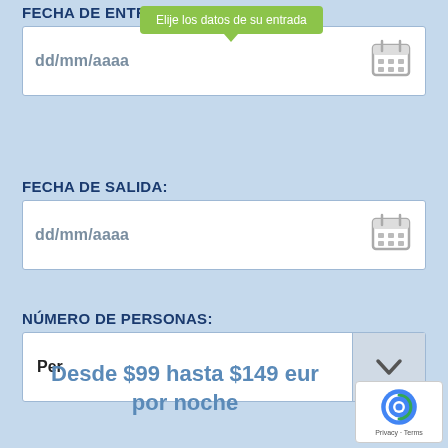FECHA DE ENTRADA:
[Figure (screenshot): Date input field with dd/mm/aaaa placeholder and calendar icon; tooltip overlay saying 'Elije los datos de su entrada']
FECHA DE SALIDA:
[Figure (screenshot): Date input field with dd/mm/aaaa placeholder and calendar icon]
NÚMERO DE PERSONAS:
[Figure (screenshot): Dropdown select field showing 'Per' with chevron button]
Desde $99 hasta $149 eur por noche